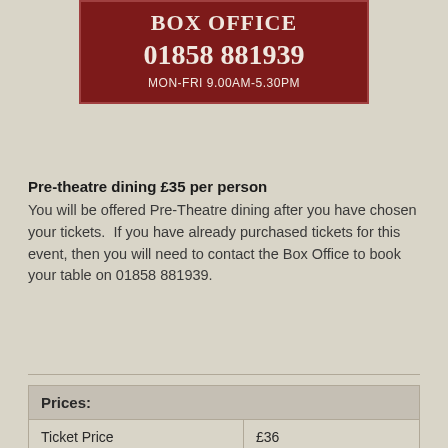BOX OFFICE
01858 881939
MON-FRI 9.00AM-5.30PM
Pre-theatre dining £35 per person
You will be offered Pre-Theatre dining after you have chosen your tickets.  If you have already purchased tickets for this event, then you will need to contact the Box Office to book your table on 01858 881939.
| Prices: |  |
| --- | --- |
| Ticket Price | £36 |
| Theatre Break | from £317 |